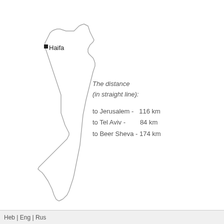[Figure (map): Outline map of Israel with Haifa marked by a black square near the northwest coast. The map shows the country's outline from north to south, tapering to a point at the south (Negev region).]
The distance (in straight line):

to Jerusalem -  116 km
to Tel Aviv -      84 km
to Beer Sheva - 174 km
Heb | Eng | Rus